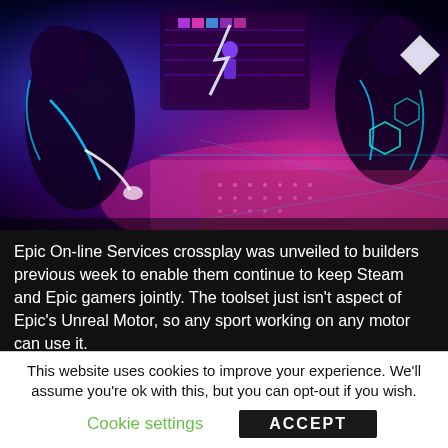[Figure (illustration): Colorful futuristic/sci-fi gaming scene with purple, blue, and pink neon colors showing characters or robots interacting with digital interfaces and technology elements.]
Epic On-line Services crossplay was unveiled to builders previous week to enable them continue to keep Steam and Epic gamers jointly. The toolset just isn't aspect of Epic's Unreal Motor, so any sport working on any motor can use it.
[Figure (screenshot): A button reading 'Read Entire Article...' with dark bold italic text on a light gray gradient background, partially visible at bottom of article area.]
This website uses cookies to improve your experience. We'll assume you're ok with this, but you can opt-out if you wish.
Cookie settings    ACCEPT